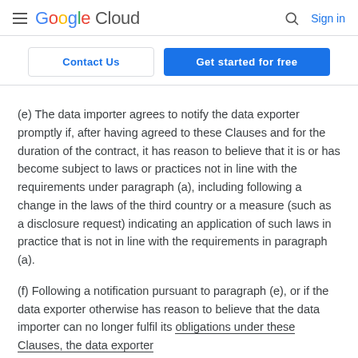Google Cloud  Sign in
Contact Us   Get started for free
(e) The data importer agrees to notify the data exporter promptly if, after having agreed to these Clauses and for the duration of the contract, it has reason to believe that it is or has become subject to laws or practices not in line with the requirements under paragraph (a), including following a change in the laws of the third country or a measure (such as a disclosure request) indicating an application of such laws in practice that is not in line with the requirements in paragraph (a).
(f) Following a notification pursuant to paragraph (e), or if the data exporter otherwise has reason to believe that the data importer can no longer fulfil its obligations under these Clauses, the data exporter